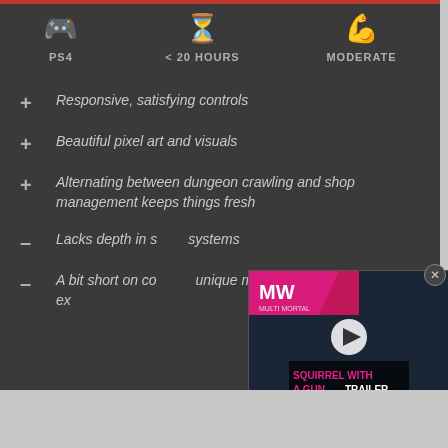[Figure (infographic): Three icons row: PS4 gamepad icon, hourglass/timer icon, flexing arm icon with labels PS4, < 20 HOURS, MODERATE]
+ Responsive, satisfying controls
+ Beautiful pixel art and visuals
+ Alternating between dungeon crawling and shop management keeps things fresh
- Lacks depth in some systems
- A bit short on content, unique music tracks, and areas to explore
[Figure (screenshot): Video ad overlay: MW logo with pink banner, dark background with play button, SQUIRREL WITH A GUN TRAILER text, close button]